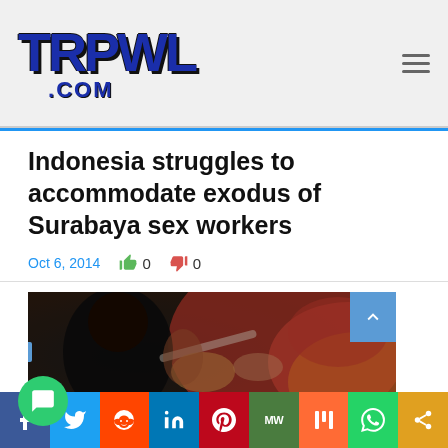TRPWL.COM
Indonesia struggles to accommodate exodus of Surabaya sex workers
Oct 6, 2014   0   0
[Figure (photo): Blurred photo of people, appears to show individuals with a spoon, with warm orange/red tones in background]
f  Twitter  Reddit  in  Pinterest  MW  Mix  WhatsApp  Share